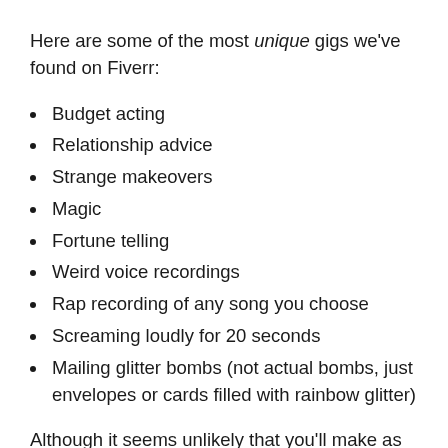Here are some of the most unique gigs we've found on Fiverr:
Budget acting
Relationship advice
Strange makeovers
Magic
Fortune telling
Weird voice recordings
Rap recording of any song you choose
Screaming loudly for 20 seconds
Mailing glitter bombs (not actual bombs, just envelopes or cards filled with rainbow glitter)
Although it seems unlikely that you'll make as much money from it, you can have some fun trying out